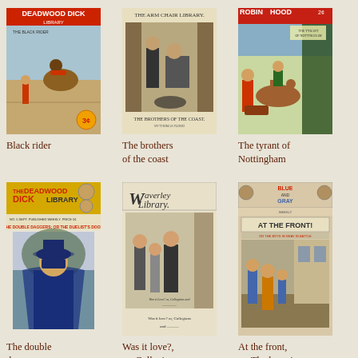[Figure (illustration): Cover of Deadwood Dick Library - Black rider on horse, western scene, price 3 cents]
Black rider
[Figure (illustration): Cover of The Arm Chair Library - The Brothers of the Coast, dark engraving scene]
The brothers of the coast
[Figure (illustration): Cover of Robin Hood - The Tyrant of Nottingham, colorful scene with figures on horseback]
The tyrant of Nottingham
[Figure (illustration): Cover of Deadwood Dick Library - The Double Daggers, masked figure in blue]
The double daggers, or,
[Figure (illustration): Cover of Waverley Library - Was it love? or, Collegians and...]
Was it love?, or, Collegians and
[Figure (illustration): Cover of Blue and Gray Weekly - At the Front, or The Boys in Gray in Battle]
At the front, or, The boys in